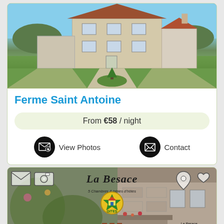[Figure (photo): Photo of Ferme Saint Antoine, a French farmhouse with stone facade, red tiled roof extension, green lawn with circular roundabout pathway and gravel paths]
Ferme Saint Antoine
From €58 / night
View Photos
Contact
[Figure (photo): La Besace - 5 Chambres & tables d'hôtes. Promotional card with icons for mail, photo, location, favorite. Address: La Besace, 21, rue Haute, 02 820 Sainte Croix. Tagline: Un accueil chaleureux, un cadre charmant, et des prix raisonnables sont ici les maîtres mots]